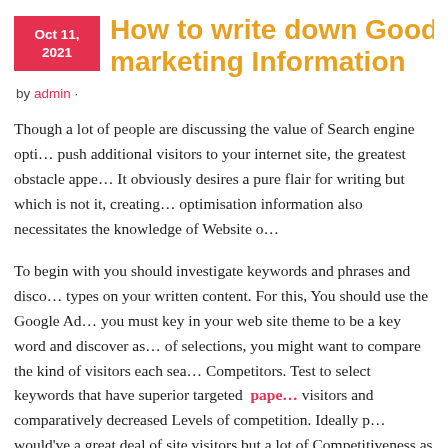How to write down Good Seo marketing Information
by admin ·
Though a lot of people are discussing the value of Search engine opti… push additional visitors to your internet site, the greatest obstacle appe… It obviously desires a pure flair for writing but which is not it, creating… optimisation information also necessitates the knowledge of Website o…
To begin with you should investigate keywords and phrases and disco… types on your written content. For this, You should use the Google Ad… you must key in your web site theme to be a key word and discover as… of selections, you might want to compare the kind of visitors each sea… Competitors. Test to select keywords that have superior targeted paper… visitors and comparatively decreased Levels of competition. Ideally p… would've a great deal of site visitors but a lot of Competitiveness as w… produce other alternatives as well.
1 you've got a listing of all-around ten keywords and phrases along w…